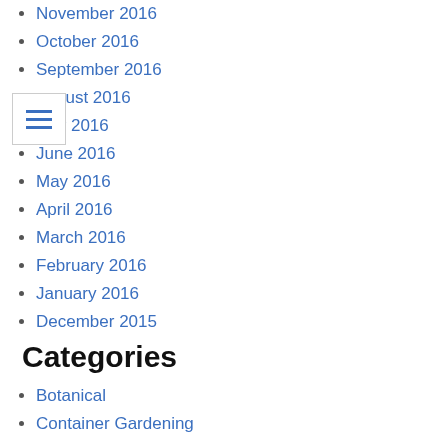November 2016
October 2016
September 2016
August 2016
July 2016
June 2016
May 2016
April 2016
March 2016
February 2016
January 2016
December 2015
Categories
Botanical
Container Gardening